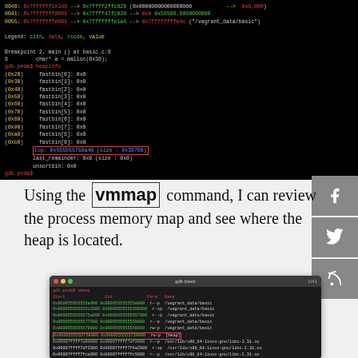[Figure (screenshot): GDB terminal showing heapinfo output with fastbins and highlighted heap pointer, command session on a Linux system]
Using the vmmap command, I can review the process memory map and see where the heap is located.
[Figure (screenshot): GDB terminal showing vmmap output with memory regions including heap highlighted in red border, gdb basic session]